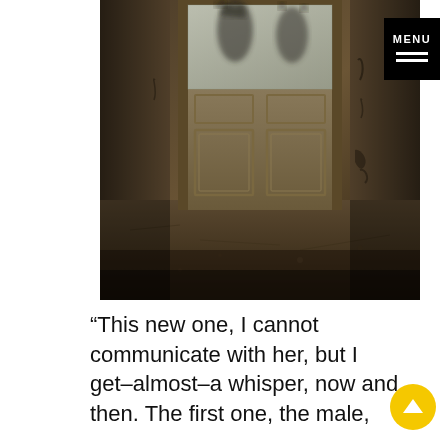[Figure (photo): An abandoned room with a weathered door, frosted glass panels showing silhouettes of hands pressing against the glass. The room has decaying walls covered in grime and stains, and a debris-strewn floor. The image has a dark, eerie atmosphere with warm amber tones.]
“This new one, I cannot communicate with her, but I get–almost–a whisper, now and then. The first one, the male,